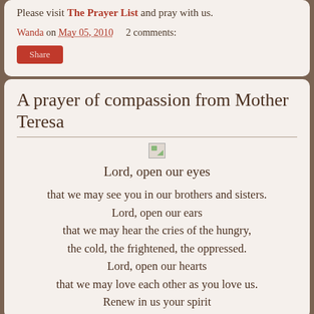Please visit The Prayer List and pray with us.
Wanda on May 05, 2010    2 comments:
Share
A prayer of compassion from Mother Teresa
[Figure (illustration): Broken image placeholder icon]
Lord, open our eyes
that we may see you in our brothers and sisters.
Lord, open our ears
that we may hear the cries of the hungry,
the cold, the frightened, the oppressed.
Lord, open our hearts
that we may love each other as you love us.
Renew in us your spirit